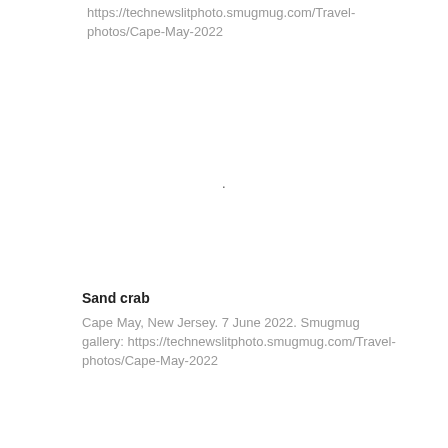https://technewslitphoto.smugmug.com/Travel-photos/Cape-May-2022
.
Sand crab
Cape May, New Jersey. 7 June 2022. Smugmug gallery: https://technewslitphoto.smugmug.com/Travel-photos/Cape-May-2022